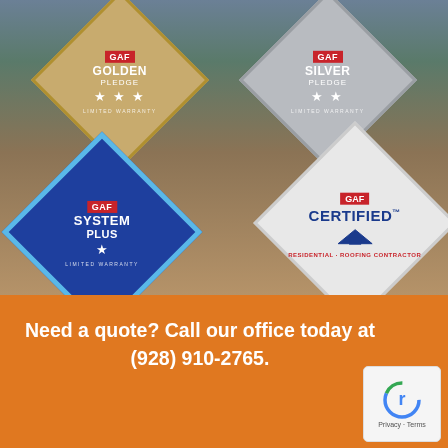[Figure (photo): Background photo of a residential house with desert landscaping, showing a driveway and tan/beige exterior. Four GAF warranty badge diamonds overlaid: Golden Pledge (gold, 3 stars, limited warranty), Silver Pledge (silver, 2 stars, limited warranty), System Plus (blue, 1 star, limited warranty), and GAF Certified Residential Roofing Contractor (gray/white).]
Need a quote? Call our office today at (928) 910-2765.